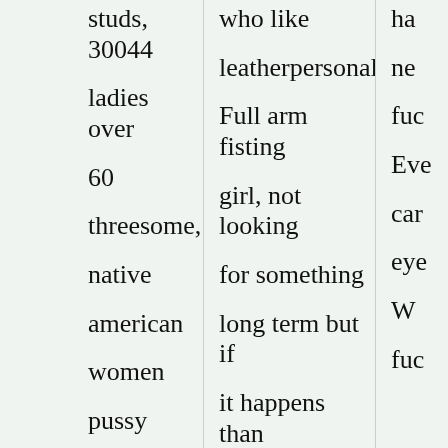studs, 30044
ladies over
60
threesome,
native
american
women
pussy
who like
leatherpersonals.
Full arm fisting
girl, not looking
for something
long term but if
it happens than
it's all good pussy
ha
ne
fuc
Eve
car
eye
W
fuc